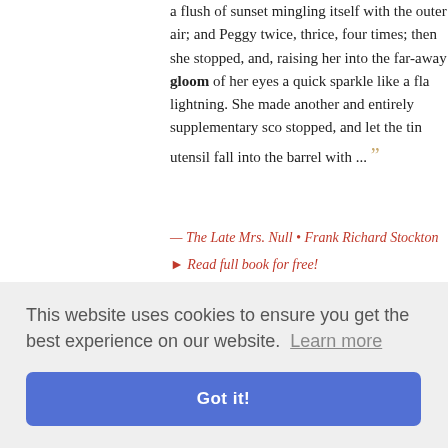a flush of sunset mingling itself with the outer air; and Peggy twice, thrice, four times; then she stopped, and, raising her into the far-away gloom of her eyes a quick sparkle like a fla lightning. She made another and entirely supplementary sco stopped, and let the tin utensil fall into the barrel with ...
— The Late Mrs. Null • Frank Richard Stockton
▸ Read full book for free!
... with wreathless brow, Walls stained with colours, not o Moss, lichens, ferns, and lonely elder tree; That upon ruins bloom, And add a beauty where't is vain to be, Like to the so prison's gloom, Or lovely maid in ...
— Life and Remains of John Clare - "The Northamptonshire...
This website uses cookies to ensure you get the best experience on our website. Learn more
Got it!